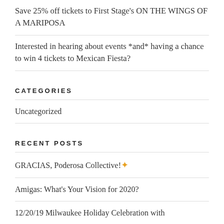Save 25% off tickets to First Stage's ON THE WINGS OF A MARIPOSA
Interested in hearing about events *and* having a chance to win 4 tickets to Mexican Fiesta?
CATEGORIES
Uncategorized
RECENT POSTS
GRACIAS, Poderosa Collective! ✦
Amigas: What's Your Vision for 2020?
12/20/19 Milwaukee Holiday Celebration with